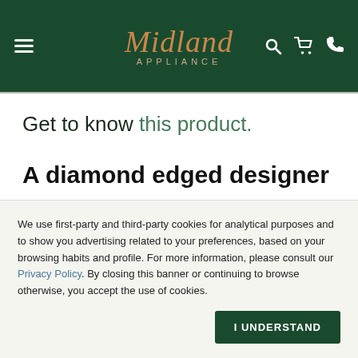Midland Appliance — navigation header
Get to know this product.
A diamond edged designer canopy hood
We use first-party and third-party cookies for analytical purposes and to show you advertising related to your preferences, based on your browsing habits and profile. For more information, please consult our Privacy Policy. By closing this banner or continuing to browse otherwise, you accept the use of cookies.